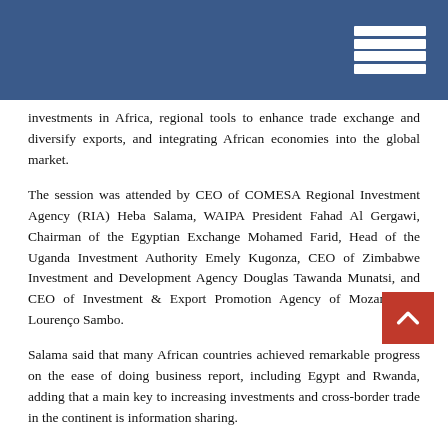investments in Africa, regional tools to enhance trade exchange and diversify exports, and integrating African economies into the global market.
The session was attended by CEO of COMESA Regional Investment Agency (RIA) Heba Salama, WAIPA President Fahad Al Gergawi, Chairman of the Egyptian Exchange Mohamed Farid, Head of the Uganda Investment Authority Emely Kugonza, CEO of Zimbabwe Investment and Development Agency Douglas Tawanda Munatsi, and CEO of Investment & Export Promotion Agency of Mozambique Lourenço Sambo.
Salama said that many African countries achieved remarkable progress on the ease of doing business report, including Egypt and Rwanda, adding that a main key to increasing investments and cross-border trade in the continent is information sharing.
Kugonza, for his part, pointed to a large presence of Egyptian firms in his country, saying it is a clear good example of integration among the African countries.
On the sidelines of IPA Africa Forum, t...